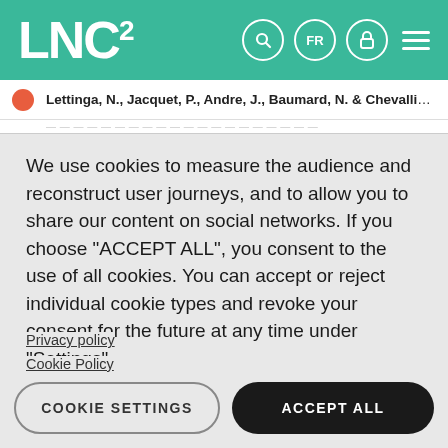[Figure (logo): LNC squared logo in white on teal/green header background with navigation icons (search, FR language selector, lock/login, hamburger menu)]
Lettinga, N., Jacquet, P., Andre, J., Baumard, N. & Chevallier, C.
We use cookies to measure the audience and reconstruct user journeys, and to allow you to share our content on social networks. If you choose "ACCEPT ALL", you consent to the use of all cookies. You can accept or reject individual cookie types and revoke your consent for the future at any time under "Settings".
Privacy policy
Cookie Policy
COOKIE SETTINGS
ACCEPT ALL